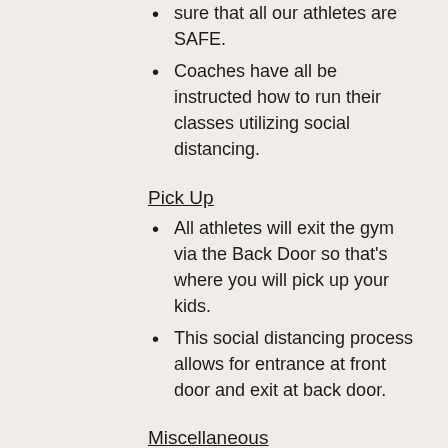sure that all our athletes are SAFE.
Coaches have all be instructed how to run their classes utilizing social distancing.
Pick Up
All athletes will exit the gym via the Back Door so that's where you will pick up your kids.
This social distancing process allows for entrance at front door and exit at back door.
Miscellaneous
Snacks and drinks from the vending machines will NOT be available for purchase.
All items brought into the gym will need to be taken home. There will be NO lost and found items. If something is left